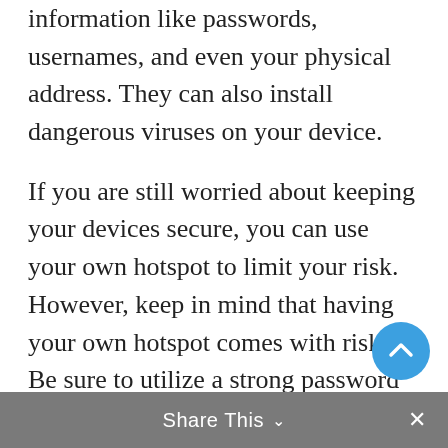information like passwords, usernames, and even your physical address. They can also install dangerous viruses on your device.
If you are still worried about keeping your devices secure, you can use your own hotspot to limit your risk. However, keep in mind that having your own hotspot comes with risks. Be sure to utilize a strong password and change it often to thwart a possible hijack. Also, make sure to encrypt your hotspot to protect against unwanted stowaways.
Use a VPN
Share This ∨  ×